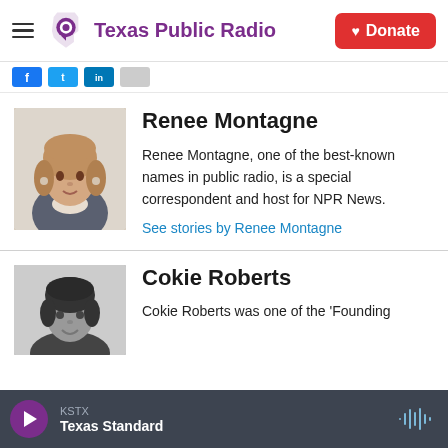Texas Public Radio — Donate
[Figure (screenshot): Texas Public Radio logo with purple Texas-shaped microphone icon and the text 'Texas Public Radio' in purple, plus a red Donate button with heart icon.]
Renee Montagne
[Figure (photo): Color headshot of Renee Montagne, a woman with light brown hair wearing a patterned top.]
Renee Montagne, one of the best-known names in public radio, is a special correspondent and host for NPR News.
See stories by Renee Montagne
Cokie Roberts
[Figure (photo): Black and white headshot of Cokie Roberts, a woman with dark hair, smiling.]
Cokie Roberts was one of the 'Founding
KSTX
Texas Standard